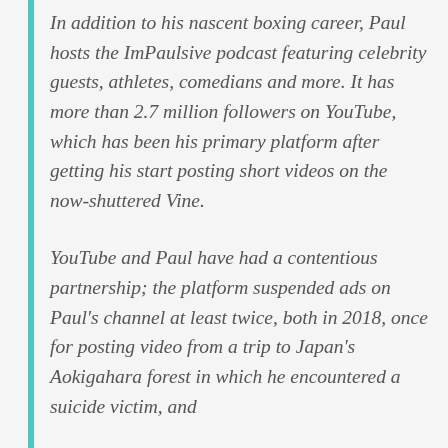In addition to his nascent boxing career, Paul hosts the ImPaulsive podcast featuring celebrity guests, athletes, comedians and more. It has more than 2.7 million followers on YouTube, which has been his primary platform after getting his start posting short videos on the now-shuttered Vine.
YouTube and Paul have had a contentious partnership; the platform suspended ads on Paul's channel at least twice, both in 2018, once for posting video from a trip to Japan's Aokigahara forest in which he encountered a suicide victim, and